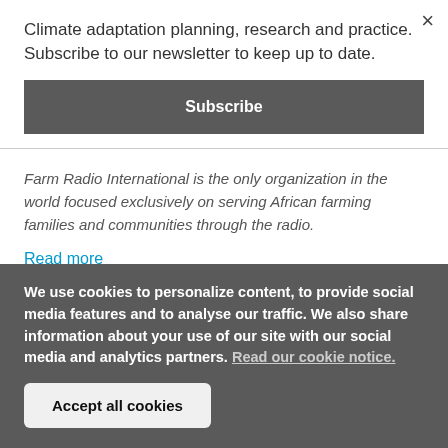Climate adaptation planning, research and practice. Subscribe to our newsletter to keep up to date.
Subscribe
Farm Radio International is the only organization in the world focused exclusively on serving African farming families and communities through the radio.
Read more
We use cookies to personalize content, to provide social media features and to analyse our traffic. We also share information about your use of our site with our social media and analytics partners. Read our cookie notice.
Accept all cookies